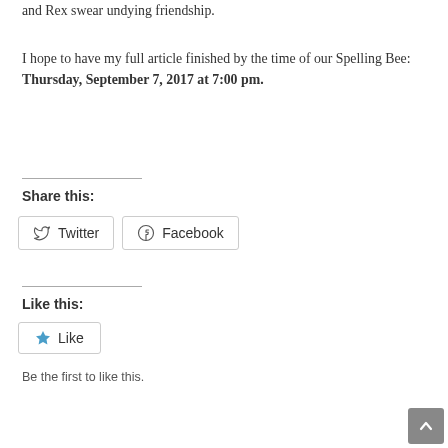and Rex swear undying friendship.
I hope to have my full article finished by the time of our Spelling Bee: Thursday, September 7, 2017 at 7:00 pm.
Share this:
[Figure (other): Twitter and Facebook share buttons]
Like this:
[Figure (other): Like button with star icon]
Be the first to like this.